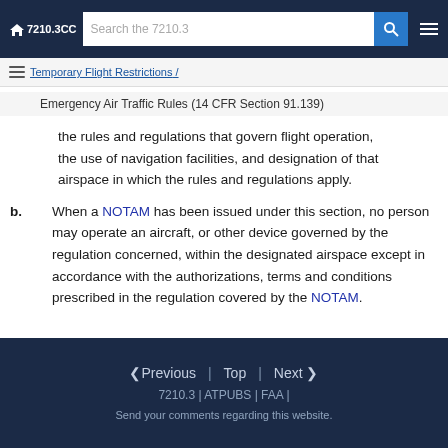7210.3CC  Search the 7210.3
Temporary Flight Restrictions /
Emergency Air Traffic Rules (14 CFR Section 91.139)
the rules and regulations that govern flight operation, the use of navigation facilities, and designation of that airspace in which the rules and regulations apply.
b. When a NOTAM has been issued under this section, no person may operate an aircraft, or other device governed by the regulation concerned, within the designated airspace except in accordance with the authorizations, terms and conditions prescribed in the regulation covered by the NOTAM.
< Previous | Top | Next > 7210.3 | ATPUBS | FAA | Send your comments regarding this website.